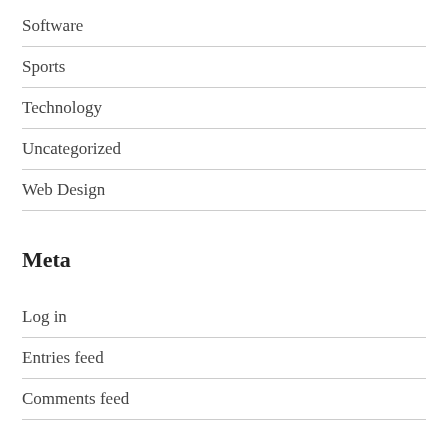Software
Sports
Technology
Uncategorized
Web Design
Meta
Log in
Entries feed
Comments feed